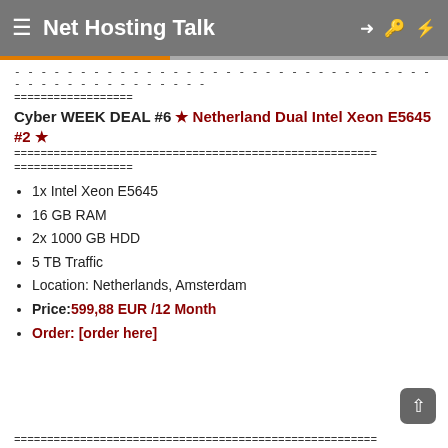Net Hosting Talk
----------------------------
==================
Cyber WEEK DEAL #6 ★ Netherland Dual Intel Xeon E5645 #2 ★
=======================================================
==================
1x Intel Xeon E5645
16 GB RAM
2x 1000 GB HDD
5 TB Traffic
Location: Netherlands, Amsterdam
Price: 599,88 EUR /12 Month
Order: [order here]
=======================================================